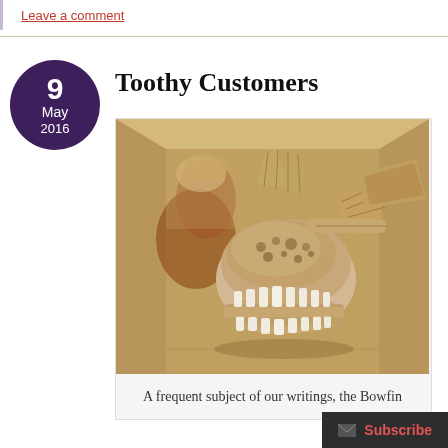Leave a comment
Toothy Customers
[Figure (photo): A fish skull (Bowfin) with prominent teeth, lying in a cardboard box with other skeletal remains, viewed from above.]
A frequent subject of our writings, the Bowfin
Subscribe